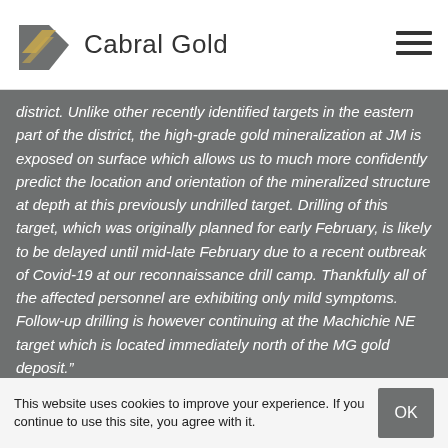Cabral Gold
district. Unlike other recently identified targets in the eastern part of the district, the high-grade gold mineralization at JM is exposed on surface which allows us to much more confidently predict the location and orientation of the mineralized structure at depth at this previously undrilled target. Drilling of this target, which was originally planned for early February, is likely to be delayed until mid-late February due to a recent outbreak of Covid-19 at our reconnaissance drill camp. Thankfully all of the affected personnel are exhibiting only mild symptoms. Follow-up drilling is however continuing at the Machichie NE target which is located immediately north of the MG gold deposit.”
This website uses cookies to improve your experience. If you continue to use this site, you agree with it.